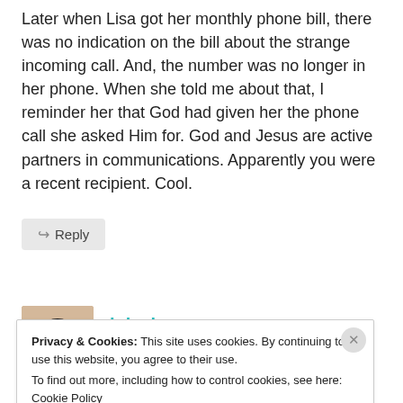Later when Lisa got her monthly phone bill, there was no indication on the bill about the strange incoming call. And, the number was no longer in her phone. When she told me about that, I reminder her that God had given her the phone call she asked Him for. God and Jesus are active partners in communications. Apparently you were a recent recipient. Cool.
↪ Reply
loisajay
Privacy & Cookies: This site uses cookies. By continuing to use this website, you agree to their use. To find out more, including how to control cookies, see here: Cookie Policy
Close and accept